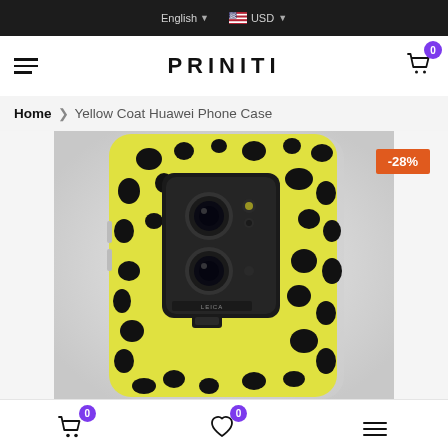English  USD
PRINITI
Home > Yellow Coat Huawei Phone Case
[Figure (photo): Yellow and black spotted/dalmatian print Huawei phone case showing back of phone with Leica triple camera. Discount badge showing -28%.]
Cart 0  Wishlist 0  Menu